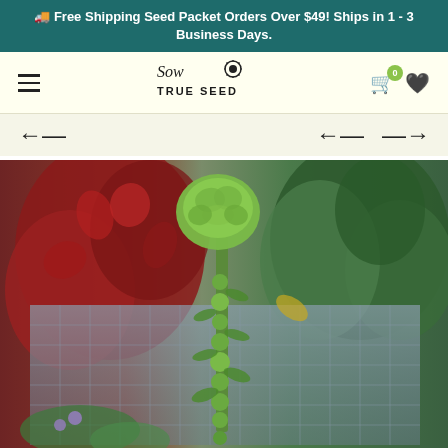🚚 Free Shipping Seed Packet Orders Over $49! Ships in 1 - 3 Business Days.
[Figure (logo): Sow True Seed logo with sunflower icon, hamburger menu icon, shopping cart with badge showing 0, and heart icon]
[Figure (photo): Brussels sprout plant growing in a garden, showing a tall stalk with small sprouts along it and a large head at the top, surrounded by red-leafed shrubs and green foliage behind a wire mesh fence]